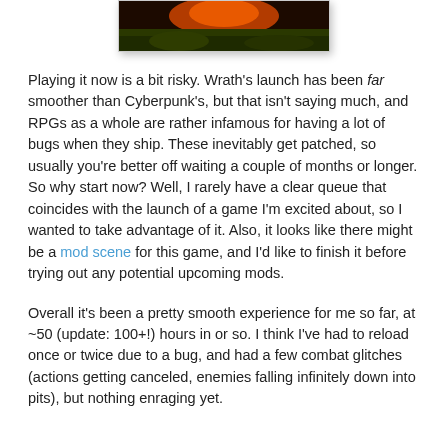[Figure (photo): Partial image showing a dark fantasy scene with orange/red fire or light against dark green/brown ground, cropped at the top of the page.]
Playing it now is a bit risky. Wrath's launch has been far smoother than Cyberpunk's, but that isn't saying much, and RPGs as a whole are rather infamous for having a lot of bugs when they ship. These inevitably get patched, so usually you're better off waiting a couple of months or longer. So why start now? Well, I rarely have a clear queue that coincides with the launch of a game I'm excited about, so I wanted to take advantage of it. Also, it looks like there might be a mod scene for this game, and I'd like to finish it before trying out any potential upcoming mods.
Overall it's been a pretty smooth experience for me so far, at ~50 (update: 100+!) hours in or so. I think I've had to reload once or twice due to a bug, and had a few combat glitches (actions getting canceled, enemies falling infinitely down into pits), but nothing enraging yet.